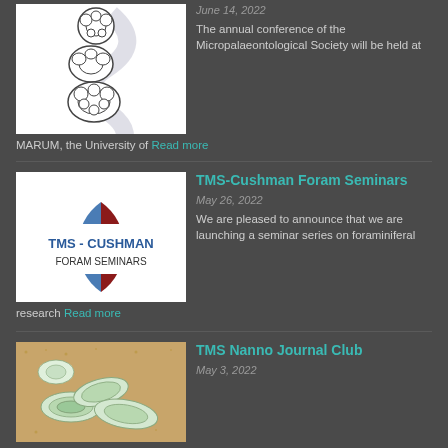[Figure (illustration): Scientific illustration of foraminifera shells/tests stacked vertically with a curved line behind them, black and white line drawing on white background]
June 14, 2022
The annual conference of the Micropalaeontological Society will be held at MARUM, the University of Read more
TMS-Cushman Foram Seminars
[Figure (logo): TMS-Cushman Foram Seminars logo with blue semicircle on left and dark red semicircle on right. Text reads TMS - CUSHMAN in blue and FORAM SEMINARS in dark text]
May 26, 2022
We are pleased to announce that we are launching a seminar series on foraminiferal research Read more
TMS Nanno Journal Club
[Figure (photo): Microscope photo of nannofossils/coccoliths on sandy/brown background, showing detailed calcite structures]
May 3, 2022